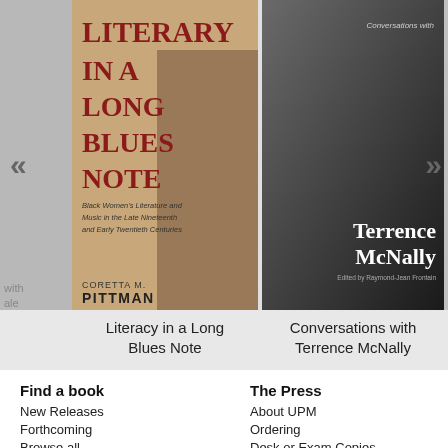[Figure (screenshot): Book carousel showing two book covers: 'Literacy in a Long Blues Note' by Coretta M. Pittman (left) and 'Conversations with Terrence McNally' (right), with navigation arrows and partial books on edges.]
Literacy in a Long Blues Note
Conversations with Terrence McNally
Find a book
The Press
New Releases
Forthcoming
Browse all
About UPM
Ordering
Desk or Exam Copies